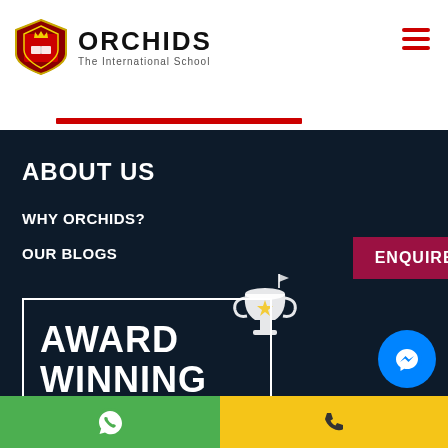ORCHIDS The International School
ABOUT US
WHY ORCHIDS?
OUR BLOGS
[Figure (other): ENQUIRE NOW button (dark red/maroon background)]
[Figure (other): Award Winning trophy graphic with white border box]
AWARD WINNING
[Figure (other): Bottom bar with WhatsApp icon (green) and phone icon (yellow), Messenger bubble (blue)]